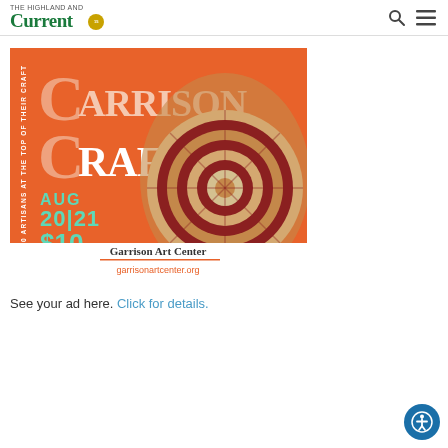The Highland Current
[Figure (illustration): Garrison Craft fair advertisement on orange background. Features large text 'GARRISON CRAFT', dates AUG 20|21, price $10, under 10 free, Over 50 artisans at the top of their craft, Garrison Art Center, garrisonartcenter.org, with photo of wooden turned bowl.]
See your ad here. Click for details.